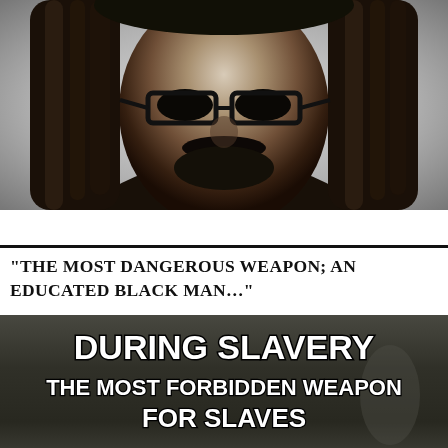[Figure (photo): Black and white portrait photograph of a Black man with dreadlocks and glasses, looking directly at the camera with a beard/mustache]
“THE MOST DANGEROUS WEAPON; AN EDUCATED BLACK MAN…”
[Figure (photo): Dark background image with bold white text reading: DURING SLAVERY THE MOST FORBIDDEN WEAPON FOR SLAVES]